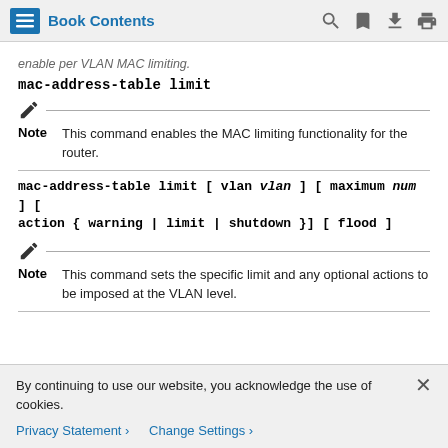Book Contents
enable per VLAN MAC limiting.
mac-address-table limit
Note  This command enables the MAC limiting functionality for the router.
mac-address-table limit [ vlan vlan ] [ maximum num ] [ action { warning | limit | shutdown }] [ flood ]
Note  This command sets the specific limit and any optional actions to be imposed at the VLAN level.
By continuing to use our website, you acknowledge the use of cookies.
Privacy Statement > Change Settings >